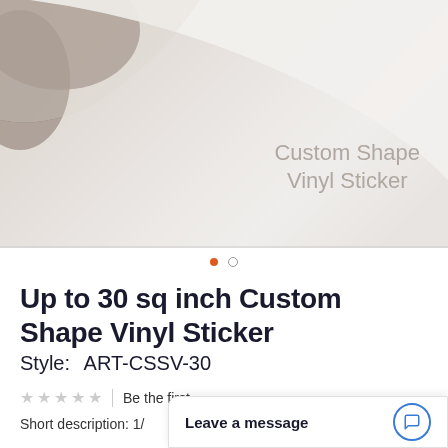[Figure (photo): Close-up photo of hands peeling a white vinyl sticker, with text overlay reading 'Custom Shape Vinyl Sticker' in light gray. Two navigation dots below the image.]
Up to 30 sq inch Custom Shape Vinyl Sticker
Style:  ART-CSSV-30
★★★★★  |  Be the first
Short description: 1/